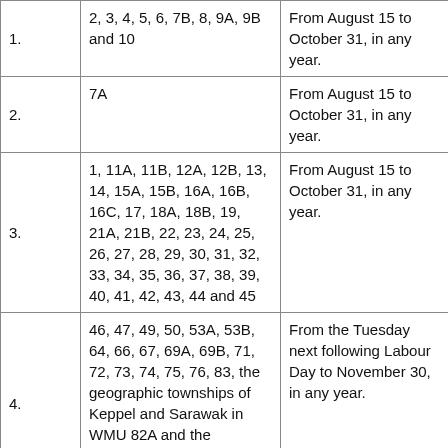|  |  |  |
| --- | --- | --- |
| 1. | 2, 3, 4, 5, 6, 7B, 8, 9A, 9B and 10 | From August 15 to October 31, in any year. |
| 2. | 7A | From August 15 to October 31, in any year. |
| 3. | 1, 11A, 11B, 12A, 12B, 13, 14, 15A, 15B, 16A, 16B, 16C, 17, 18A, 18B, 19, 21A, 21B, 22, 23, 24, 25, 26, 27, 28, 29, 30, 31, 32, 33, 34, 35, 36, 37, 38, 39, 40, 41, 42, 43, 44 and 45 | From August 15 to October 31, in any year. |
| 4. | 46, 47, 49, 50, 53A, 53B, 64, 66, 67, 69A, 69B, 71, 72, 73, 74, 75, 76, 83, the geographic townships of Keppel and Sarawak in WMU 82A and the geographic township of Amabel in WMU 84 | From the Tuesday next following Labour Day to November 30, in any year. |
| 5. | 48, 54, 55A, 55B, 56, 57, | From September 1 to |